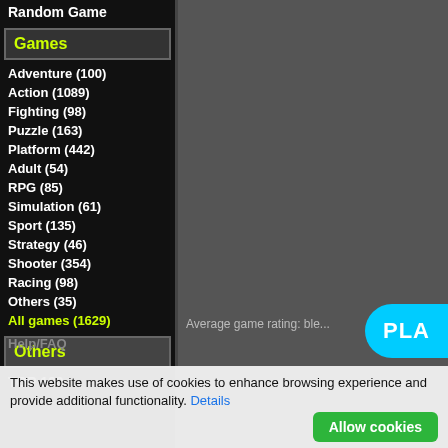Random Game
Games
Adventure  (100)
Action  (1089)
Fighting  (98)
Puzzle  (163)
Platform  (442)
Adult  (54)
RPG  (85)
Simulation  (61)
Sport  (135)
Strategy  (46)
Shooter  (354)
Racing  (98)
Others  (35)
All games  (1629)
Others
TOP 100
[Figure (screenshot): Game screenshot area (dark grey background)]
PLA
Average game rating: ble...
Help/FAQ
This website makes use of cookies to enhance browsing experience and provide additional functionality. Details
Allow cookies